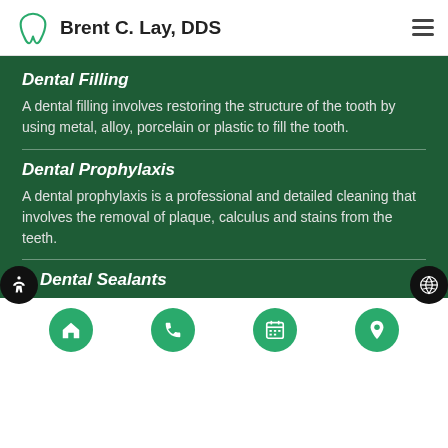Brent C. Lay, DDS
Dental Filling
A dental filling involves restoring the structure of the tooth by using metal, alloy, porcelain or plastic to fill the tooth.
Dental Prophylaxis
A dental prophylaxis is a professional and detailed cleaning that involves the removal of plaque, calculus and stains from the teeth.
Dental Sealants